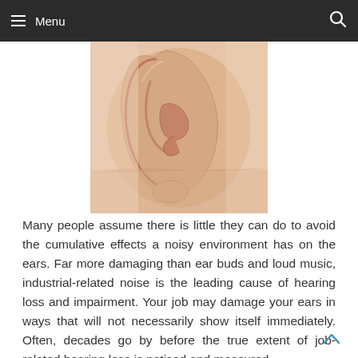Menu
[Figure (photo): Close-up photo of a human ear, showing the outer ear (pinna) and surrounding skin in pinkish-beige tones against a light background.]
Many people assume there is little they can do to avoid the cumulative effects a noisy environment has on the ears. Far more damaging than ear buds and loud music, industrial-related noise is the leading cause of hearing loss and impairment. Your job may damage your ears in ways that will not necessarily show itself immediately. Often, decades go by before the true extent of job-related hearing loss is noticed and measured.